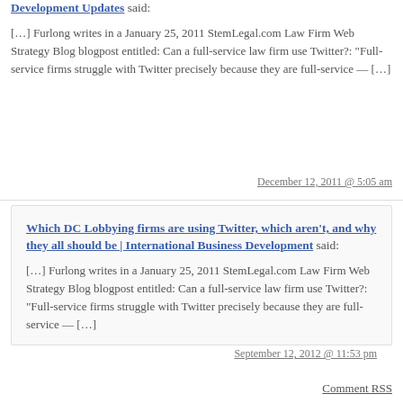[link] said: […] Furlong writes in a January 25, 2011 StemLegal.com Law Firm Web Strategy Blog blogpost entitled: Can a full-service law firm use Twitter?: "Full-service firms struggle with Twitter precisely because they are full-service — […]
December 12, 2011 @ 5:05 am
Which DC Lobbying firms are using Twitter, which aren't, and why they all should be | International Business Development said: […] Furlong writes in a January 25, 2011 StemLegal.com Law Firm Web Strategy Blog blogpost entitled: Can a full-service law firm use Twitter?: "Full-service firms struggle with Twitter precisely because they are full-service — […]
September 12, 2012 @ 11:53 pm
Comment RSS